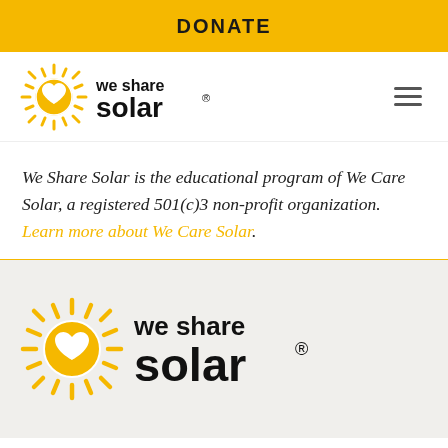DONATE
[Figure (logo): We Share Solar logo - sun with heart and text 'we share solar®' in nav bar]
We Share Solar is the educational program of We Care Solar, a registered 501(c)3 non-profit organization. Learn more about We Care Solar.
[Figure (logo): We Share Solar logo - larger version in footer gray area]